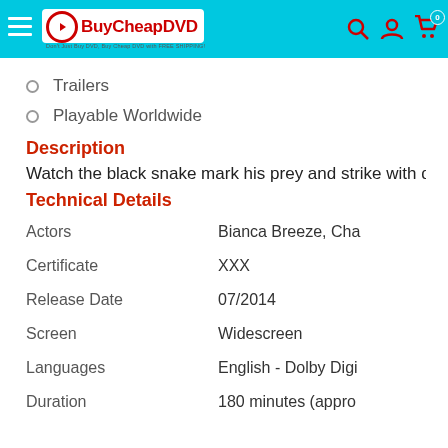BuyCheapDVD - Don't Just Buy DVD, Buy Cheap DVD with FREE SHIPPING!
Trailers
Playable Worldwide
Description
Watch the black snake mark his prey and strike with deep, im
Technical Details
| Field | Value |
| --- | --- |
| Actors | Bianca Breeze, Cha |
| Certificate | XXX |
| Release Date | 07/2014 |
| Screen | Widescreen |
| Languages | English - Dolby Digi |
| Duration | 180 minutes (appro |